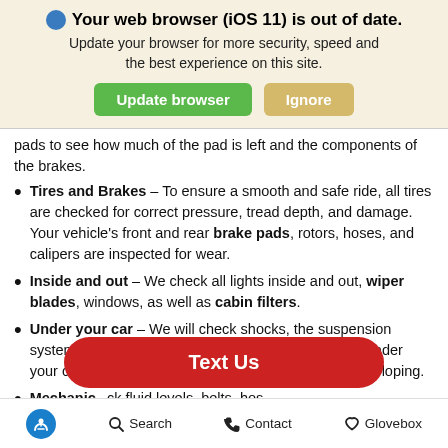Your web browser (iOS 11) is out of date. Update your browser for more security, speed and the best experience on this site.
pads to see how much of the pad is left and the components of the brakes.
Tires and Brakes – To ensure a smooth and safe ride, all tires are checked for correct pressure, tread depth, and damage. Your vehicle's front and rear brake pads, rotors, hoses, and calipers are inspected for wear.
Inside and out – We check all lights inside and out, wiper blades, windows, as well as cabin filters.
Under your car – We will check shocks, the suspension system, exhaust, fuel lines, and the steering system under your car. We also look for any leaks that might be developing.
Mechanic... ck fluid levels, belts, hos... After the inspection we will give you a sheet.
[Figure (other): Red 'Text Us' overlay button covering part of the page]
Accessibility  Search  Contact  Glovebox